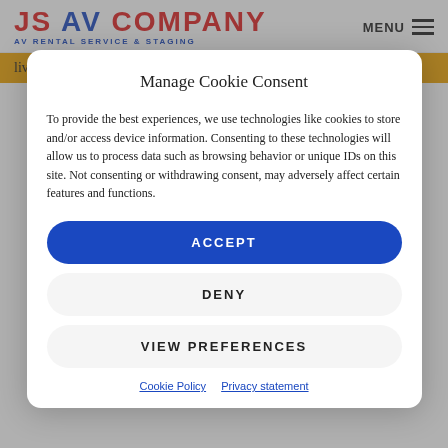JS AV COMPANY — Av Rental Service & Staging | MENU
live events market. The product can produce a concave
Manage Cookie Consent
To provide the best experiences, we use technologies like cookies to store and/or access device information. Consenting to these technologies will allow us to process data such as browsing behavior or unique IDs on this site. Not consenting or withdrawing consent, may adversely affect certain features and functions.
ACCEPT
DENY
VIEW PREFERENCES
Cookie Policy   Privacy statement